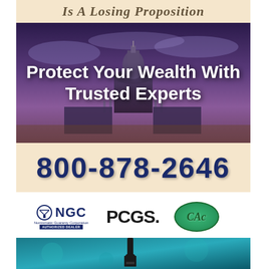[Figure (illustration): Partial banner with italic text 'Is A Losing Proposition' on a beige/cream background]
[Figure (photo): Advertisement image showing US Capitol building at dusk with purple/blue sky. Large white bold text reads 'Protect Your Wealth With Trusted Experts']
[Figure (illustration): Phone number banner on beige background showing '800-878-2646' in large dark blue 3D-style text]
[Figure (logo): Three certification logos: NGC (Numismatic Guaranty Corporation Authorized Dealer) with scales icon, PCGS logo in black, and CAC oval green logo]
[Figure (logo): Living Streams Mission logo with green circular emblem and text 'Streams Mission - Manufacturer of Living Streams Probiotics']
[Figure (photo): Bottom portion showing a dropper bottle against a teal/blue microscopic background]